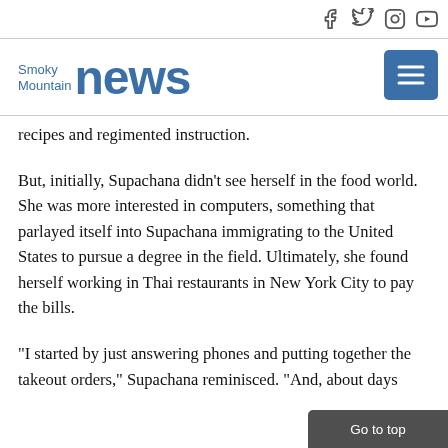Smoky Mountain News — social icons: Facebook, Twitter, Instagram, YouTube
[Figure (logo): Smoky Mountain News logo with blue text]
recipes and regimented instruction.
But, initially, Supachana didn't see herself in the food world. She was more interested in computers, something that parlayed itself into Supachana immigrating to the United States to pursue a degree in the field. Ultimately, she found herself working in Thai restaurants in New York City to pay the bills.
“I started by just answering phones and putting together the takeout orders,” Supachana reminisced. “And, about days